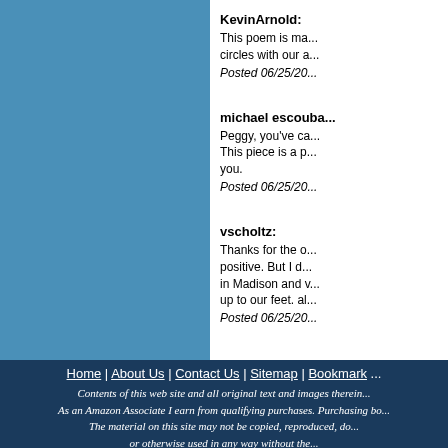KevinArnold: This poem is ma... circles with our a... Posted 06/25/20...
michael escouba... Peggy, you've ca... This piece is a p... you. Posted 06/25/20...
vscholtz: Thanks for the o... positive. But I d... in Madison and v... up to our feet. al... Posted 06/25/20...
Home | About Us | Contact Us | Sitemap | Bookmark ... Contents of this web site and all original text and images therein... As an Amazon Associate I earn from qualifying purchases. Purchasing bo... The material on this site may not be copied, reproduced, do... or otherwise used in any way without the...